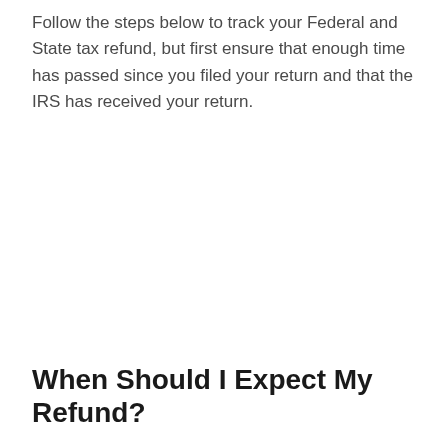Follow the steps below to track your Federal and State tax refund, but first ensure that enough time has passed since you filed your return and that the IRS has received your return.
When Should I Expect My Refund?